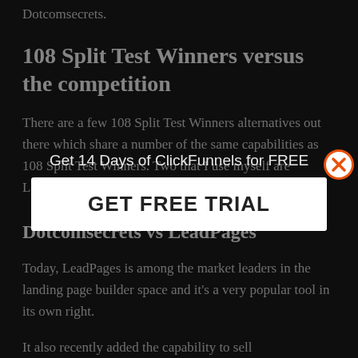Dotcomsecrets.
108 Split Test Winners versus the competition
There are a few 108 Split Test Winners alternatives out there which share a number of the same capabilities as 108 Split Test Winners. Two that I use myself are LeadPages and SamCart.
[Figure (screenshot): Popup overlay with text 'Get 14 Days of ClickFunnels for FREE' and a white button 'GET FREE TRIAL', with an orange X close button in the top-right corner.]
Dotcomsecrets vs LeadPages
Today, LeadPages is among the market leaders in the landing page builder space and it's a very popular tool in its own right.
It also recently added the capability to sell